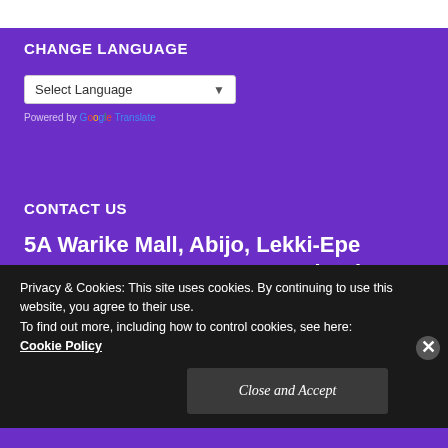CHANGE LANGUAGE
[Figure (screenshot): Language selector dropdown showing 'Select Language' with a dropdown arrow, and 'Powered by Google Translate' below it]
CONTACT US
5A Warike Mall, Abijo, Lekki-Epe Expressway, Lagos State, Nigeria +2347037886459; +2347056984840 (WhatsApp)
Privacy & Cookies: This site uses cookies. By continuing to use this website, you agree to their use.
To find out more, including how to control cookies, see here: Cookie Policy
Close and Accept